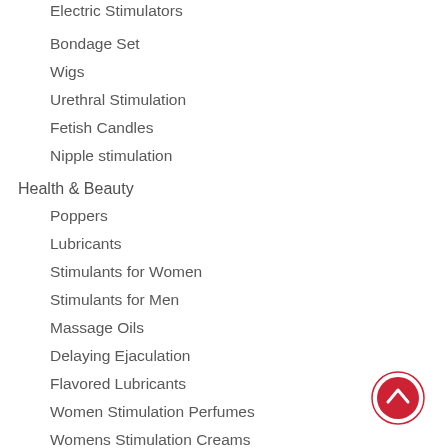Electric Stimulators
Bondage Set
Wigs
Urethral Stimulation
Fetish Candles
Nipple stimulation
Health & Beauty
Poppers
Lubricants
Stimulants for Women
Stimulants for Men
Massage Oils
Delaying Ejaculation
Flavored Lubricants
Women Stimulation Perfumes
Womens Stimulation Creams
[Figure (other): Scroll-to-top button: red circle with upward chevron icon]